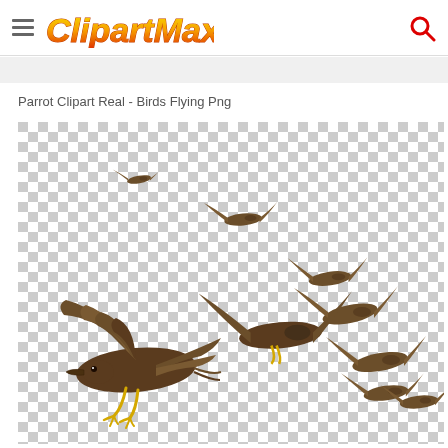ClipartMax
Parrot Clipart Real - Birds Flying Png
[Figure (illustration): A flock of realistic brown birds in various stages of flight against a transparent checkerboard background. One large bird dominates the lower left with wings fully spread, and several smaller birds are scattered across the image at different distances and angles, creating a sense of depth and motion.]